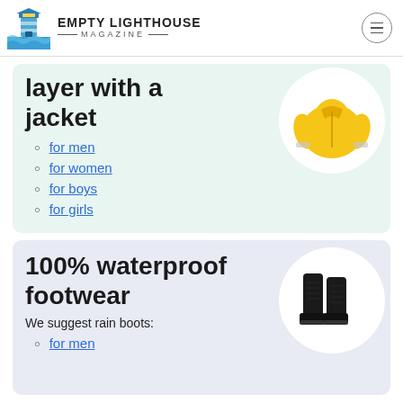Empty Lighthouse Magazine
layer with a jacket
for men
for women
for boys
for girls
[Figure (photo): Yellow rain jacket on white circular background]
100% waterproof footwear
We suggest rain boots:
for men
[Figure (photo): Black rain boots on white circular background]